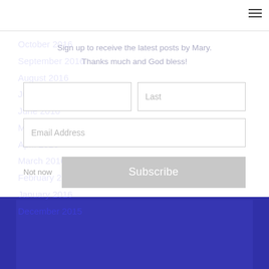October 2016
September 2016
August 2016
July 2016
June 2016
May 2016
April 2016
March 2016
February 2016
January 2016
December 2015
Join Our List
Sign up to receive the latest posts by Mary. Thanks much and God bless!
Last
Email Address
Not now
Subscribe